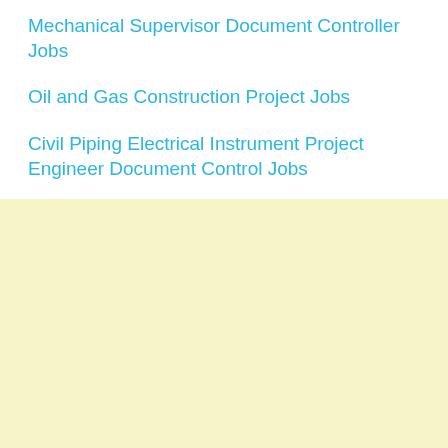Mechanical Supervisor Document Controller Jobs
Oil and Gas Construction Project Jobs
Civil Piping Electrical Instrument Project Engineer Document Control Jobs
[Figure (other): Light yellow/cream colored background block filling the bottom half of the page]